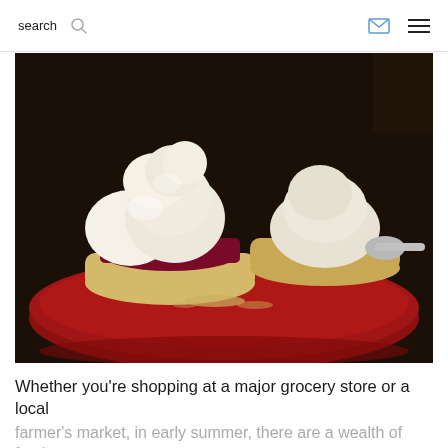search
[Figure (photo): Close-up photo of a pastry or biscuit topped with white meringue and filled with dark berry jam/compote, served on a red plate. A second similar pastry is visible in the background along with a spoon.]
Whether you're shopping at a major grocery store or a local farmer's market, in early summer, there are a wealth of fresh, ripe fruits to choose from. Having such a bounty of fruit is a